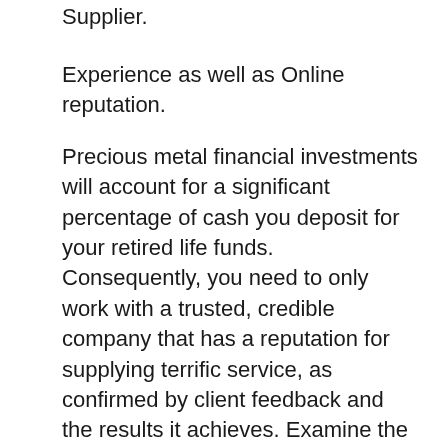Supplier.
Experience as well as Online reputation.
Precious metal financial investments will account for a significant percentage of cash you deposit for your retired life funds. Consequently, you need to only work with a trusted, credible company that has a reputation for supplying terrific service, as confirmed by client feedback and the results it achieves. Examine the track record of their company with companies like the BBB. If a firm has a score of A+, you can be sure it is a trustworthy provider. Furthermore, you must prioritize companies that have Customer Affairs accreditation, so you can be positive that they run a trustworthy procedure.